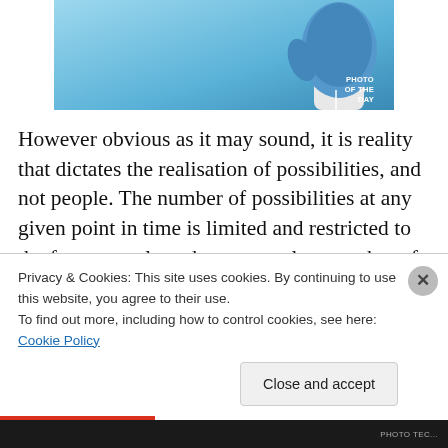[Figure (photo): Photo of the day: a hand wearing a blue rubber glove against a light blue sky background, with 'PHOTO OF THE DAY' label in the lower right corner.]
However obvious as it may sound, it is reality that dictates the realisation of possibilities, and not people. The number of possibilities at any given point in time is limited and restricted to the factors at play when a countless number of competing forces vie for the same limited pot of resources. Men do not miraculously create their own fate based on a whimsical sentimentality of empowerment. The
Privacy & Cookies: This site uses cookies. By continuing to use this website, you agree to their use.
To find out more, including how to control cookies, see here: Cookie Policy